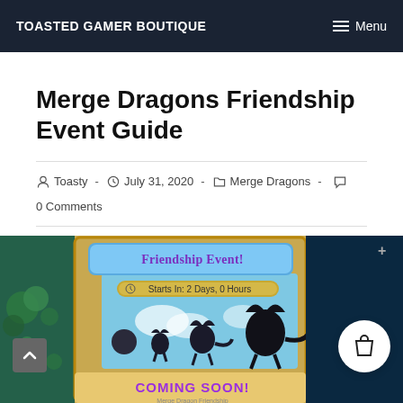TOASTED GAMER BOUTIQUE   ≡ Menu
Merge Dragons Friendship Event Guide
Toasty  ·  July 31, 2020  ·  Merge Dragons  ·  0 Comments
[Figure (screenshot): Screenshot of the Merge Dragons Friendship Event game interface showing 'Friendship Event!' banner, 'Starts In: 2 Days, 0 Hours', dragon silhouettes, and 'COMING SOON!' text in purple.]